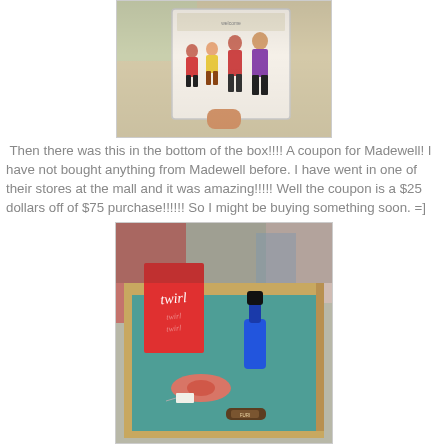[Figure (photo): A hand holding a Madewell welcome card showing illustrated family figures in colorful clothes, photographed on a wooden table near a window]
Then there was this in the bottom of the box!!!! A coupon for Madewell! I have not bought anything from Madewell before. I have went in one of their stores at the mall and it was amazing!!!!! Well the coupon is a $25 dollars off of $75 purchase!!!!!! So I might be buying something soon. =]
[Figure (photo): A teal-lined subscription box containing a red book titled 'twirl', a blue nail polish bottle, a pink/coral fabric item with a tag, and a small brown tube, with colorful items visible in the background]